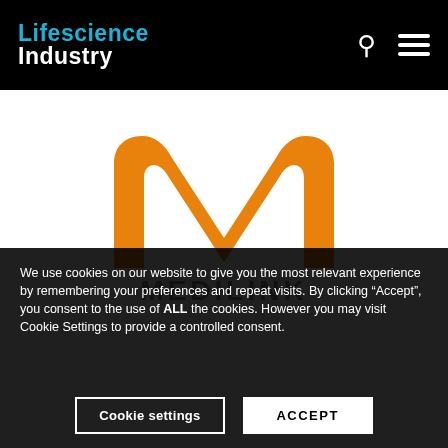Lifescience Industry
[Figure (logo): Medilink logo — orange M shape above grey MEDILINK text]
We use cookies on our website to give you the most relevant experience by remembering your preferences and repeat visits. By clicking “Accept”, you consent to the use of ALL the cookies. However you may visit Cookie Settings to provide a controlled consent.
Cookie settings
ACCEPT